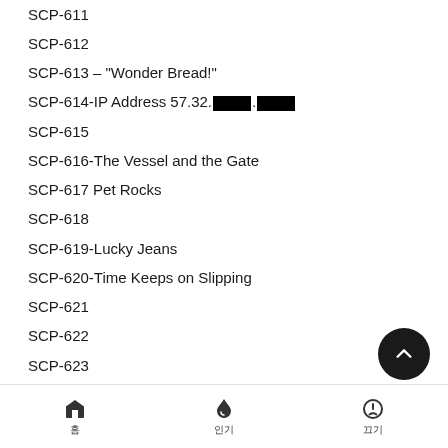SCP-611
SCP-612
SCP-613 – "Wonder Bread!"
SCP-614-IP Address 57.32.[REDACTED].[REDACTED]
SCP-615
SCP-616-The Vessel and the Gate
SCP-617 Pet Rocks
SCP-618
SCP-619-Lucky Jeans
SCP-620-Time Keeps on Slipping
SCP-621
SCP-622
SCP-623
SCP-624 - "Personal" Music Player
SCP-625-Anklebiter
SCP-626
SCP-627 Perpetual Circle
SCP-628
홈 | 인기 | 끄기